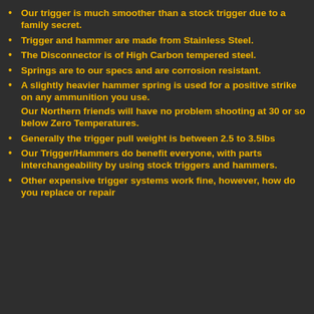Our trigger is much smoother than a stock trigger due to a family secret.
Trigger and hammer are made from Stainless Steel.
The Disconnector is of High Carbon tempered steel.
Springs are to our specs and are corrosion resistant.
A slightly heavier hammer spring is used for a positive strike on any ammunition you use. Our Northern friends will have no problem shooting at 30 or so below Zero Temperatures.
Generally the trigger pull weight is between 2.5 to 3.5lbs
Our Trigger/Hammers do benefit everyone, with parts interchangeability by using stock triggers and hammers.
Other expensive trigger systems work fine, however, how do you replace or repair